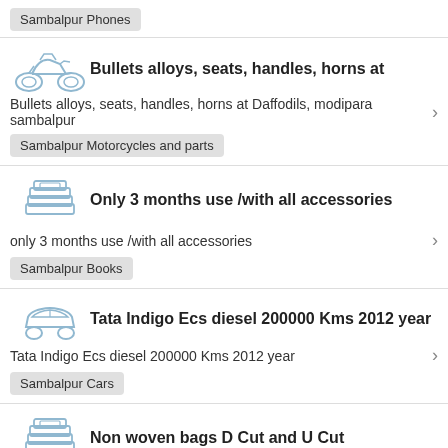Sambalpur Phones
Bullets alloys, seats, handles, horns at
Bullets alloys, seats, handles, horns at Daffodils, modipara sambalpur
Sambalpur Motorcycles and parts
Only 3 months use /with all accessories
only 3 months use /with all accessories
Sambalpur Books
Tata Indigo Ecs diesel 200000 Kms 2012 year
Tata Indigo Ecs diesel 200000 Kms 2012 year
Sambalpur Cars
Non woven bags D Cut and U Cut
Non woven bags D Cut and U Cut
Sambalpur Books